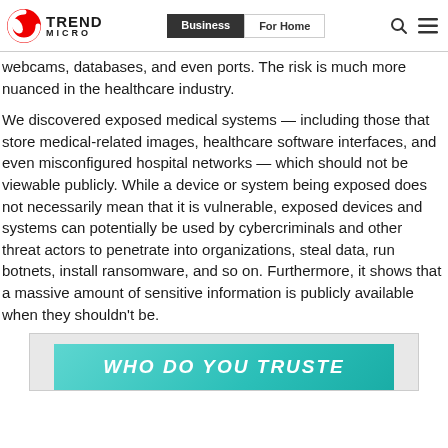Trend Micro | Business | For Home
webcams, databases, and even ports. The risk is much more nuanced in the healthcare industry.
We discovered exposed medical systems — including those that store medical-related images, healthcare software interfaces, and even misconfigured hospital networks — which should not be viewable publicly. While a device or system being exposed does not necessarily mean that it is vulnerable, exposed devices and systems can potentially be used by cybercriminals and other threat actors to penetrate into organizations, steal data, run botnets, install ransomware, and so on. Furthermore, it shows that a massive amount of sensitive information is publicly available when they shouldn't be.
[Figure (screenshot): Partial view of an infographic or banner with teal/cyan background showing text 'WHO DO YOU TRUSTE' (partially visible)]